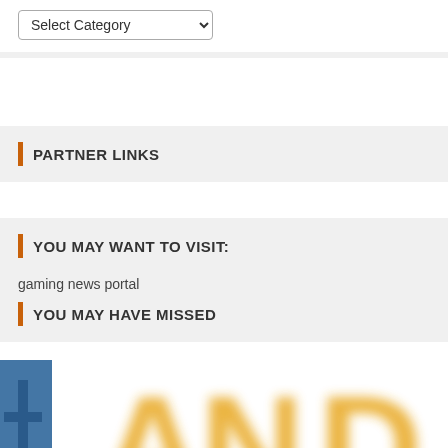[Figure (screenshot): Dropdown select element with 'Select Category' label and chevron]
PARTNER LINKS
YOU MAY WANT TO VISIT:
gaming news portal
YOU MAY HAVE MISSED
[Figure (illustration): Large blurred golden 'AND' text with a blue rectangular shape partially visible on the left, and an orange back-to-top button with upward arrow in the bottom right]